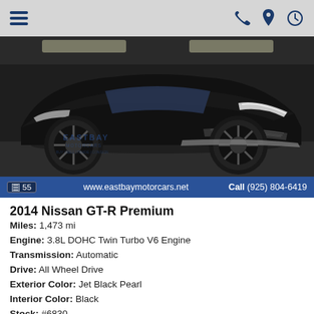[Figure (screenshot): Navigation bar with hamburger menu icon on left and phone, location pin, and clock icons on right, all in dark blue on grey background]
[Figure (photo): Front view of a black 2014 Nissan GT-R Premium in a showroom. The car is black with dark alloy wheels and grey front splitter. East Bay Motorcars watermark visible.]
55 photos — www.eastbaymotorcars.net — Call (925) 804-6419
2014 Nissan GT-R Premium
Miles: 1,473 mi
Engine: 3.8L DOHC Twin Turbo V6 Engine
Transmission: Automatic
Drive: All Wheel Drive
Exterior Color: Jet Black Pearl
Interior Color: Black
Stock: #6830
Model: 43114
Internet Price: $97,800